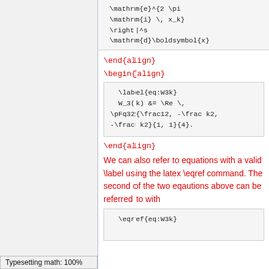\end{align}
\begin{align}
\end{align}
We can also refer to equations with a valid \label using the latex \eqref command. The second of the two eqautions above can be referred to with
Typesetting math: 100%